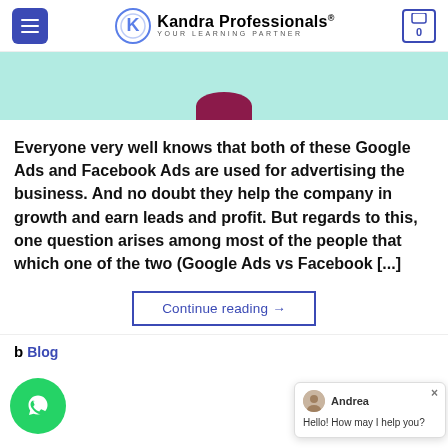Kandra Professionals® YOUR LEARNING PARTNER
[Figure (illustration): Teal/mint colored banner with partial dark red/maroon rounded shape at bottom center]
Everyone very well knows that both of these Google Ads and Facebook Ads are used for advertising the business. And no doubt they help the company in growth and earn leads and profit. But regards to this, one question arises among most of the people that which one of the two (Google Ads vs Facebook [...]
Continue reading →
Blog